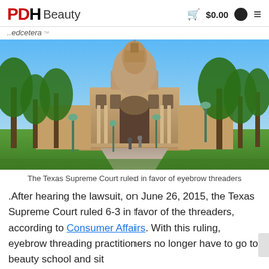PDH Beauty  $0.00  ☰
..edcetera
[Figure (photo): Photo of the Texas State Capitol building in Austin, Texas, surrounded by trees on a sunny day with people walking on a central pathway.]
The Texas Supreme Court ruled in favor of eyebrow threaders
.After hearing the lawsuit, on June 26, 2015, the Texas Supreme Court ruled 6-3 in favor of the threaders, according to Consumer Affairs. With this ruling, eyebrow threading practitioners no longer have to go to beauty school and sit